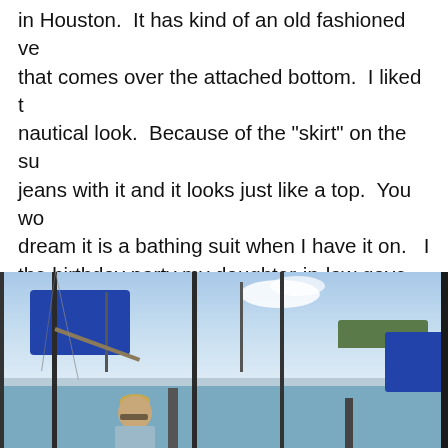in Houston.  It has kind of an old fashioned ve... that comes over the attached bottom.  I liked t... nautical look.  Because of the "skirt" on the su... jeans with it and it looks just like a top.  You wo... dream it is a bathing suit when I have it on.   I... the birthday party my daughter-in-law gave for... of the party was out by the pool.  I wore the ba... white cropped pants for the party.
[Figure (photo): Person standing at a marina dock with sailboat masts visible, blue sail covers, trees on the horizon, and a partly cloudy sky.]